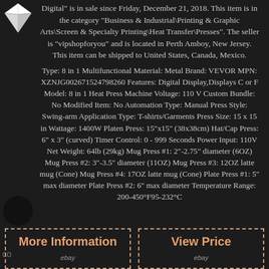Digital" is in sale since Friday, December 21, 2018. This item is in the category "Business & Industrial\Printing & Graphic Arts\Screen & Specialty Printing\Heat Transfer\Presses". The seller is "vipshopforyou" and is located in Perth Amboy, New Jersey. This item can be shipped to United States, Canada, Mexico.
Type: 8 in 1 Multifunctional Material: Metal Brand: VEVOR MPN: XZNJG002671524798260 Features: Digital Display,Displays C or F Model: 8 in 1 Heat Press Machine Voltage: 110 V Custom Bundle: No Modified Item: No Automation Type: Manual Press Style: Swing-arm Application Type: T-shirts/Garments Press Size: 15 x 15 in Wattage: 1400W Platen Press: 15"x15" (38x38cm) Hat/Cap Press: 6" x 3" (curved) Timer Control: 0 - 999 Seconds Power Input: 110V Net Weight: 64lb (29kg) Mug Press #1: 2"-2.75" diameter (6OZ) Mug Press #2: 3"-3.5" diameter (11OZ) Mug Press #3: 12OZ latte mug (Cone) Mug Press #4: 17OZ latte mug (Cone) Plate Press #1: 5" max diameter Plate Press #2: 6" max diameter Temperature Range: 200-450°F95-232°C
More Information
View Price